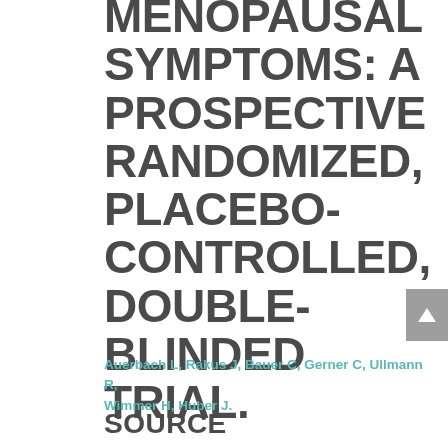MENOPAUSAL SYMPTOMS: A PROSPECTIVE RANDOMIZED, PLACEBO-CONTROLLED, DOUBLE-BLINDED TRIAL.
Auerbach L, Rakus J, Bauer C, Gerner C, Ullmann R, Wimmer H, Huber J.
SOURCE